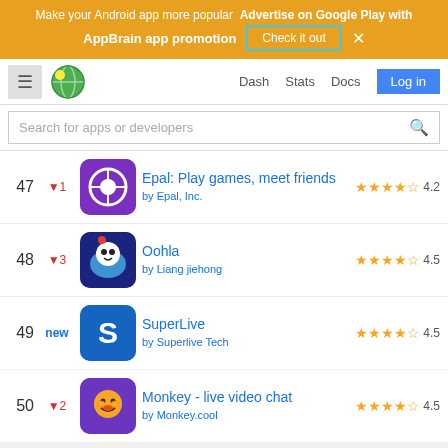Make your Android app more popular   Advertise on Google Play with AppBrain app promotion   Check it out   ×
Dash   Stats   Docs   Log in
Search for apps or developers
47 ▼1 Epal: Play games, meet friends by Epal, Inc. ★★★★½ 4.2
48 ▼3 Oohla by Liang jiehong ★★★★½ 4.5
49 new SuperLive by Superlive Tech ★★★★½ 4.5
50 ▼2 Monkey - live video chat by Monkey.cool ★★★★½ 4.5
🛒 Buy   Get Google Play Ranking: Top Grossing Social Apps in Norway report
[Figure (screenshot): Partial bottom section showing beginning of another app entry]